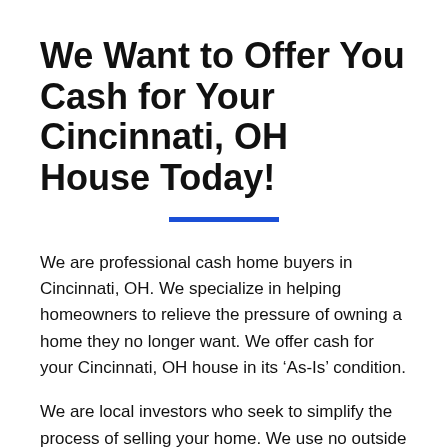We Want to Offer You Cash for Your Cincinnati, OH House Today!
We are professional cash home buyers in Cincinnati, OH. We specialize in helping homeowners to relieve the pressure of owning a home they no longer want. We offer cash for your Cincinnati, OH house in its ‘As-Is’ condition.
We are local investors who seek to simplify the process of selling your home. We use no outside parties in the transaction and use funds that we have at the ready to make an offer in the shortest timeframe possible. We buy